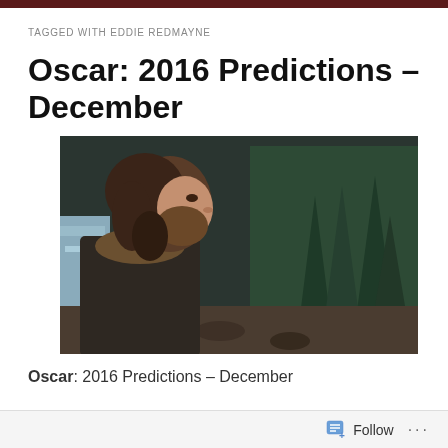TAGGED WITH EDDIE REDMAYNE
Oscar: 2016 Predictions – December
[Figure (photo): A bearded man with long hair in profile view, wearing a dark coat with fur collar, set against a background of evergreen trees and a river, a still from what appears to be a film.]
Oscar: 2016 Predictions – December
Follow ...